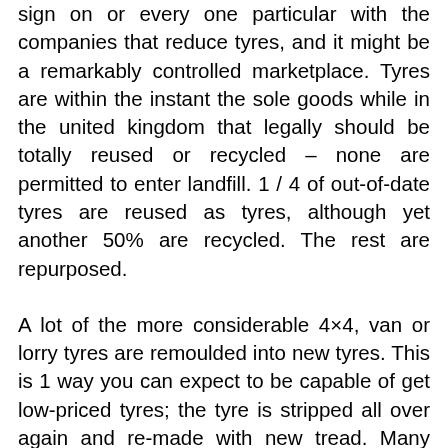sign on or every one particular with the companies that reduce tyres, and it might be a remarkably controlled marketplace. Tyres are within the instant the sole goods while in the united kingdom that legally should be totally reused or recycled – none are permitted to enter landfill. 1 / 4 of out-of-date tyres are reused as tyres, although yet another 50% are recycled. The rest are repurposed.
A lot of the more considerable 4×4, van or lorry tyres are remoulded into new tyres. This is 1 way you can expect to be capable of get low-priced tyres; the tyre is stripped all over again and re-made with new tread. Many lorries plus some vans use remoulded tyres.
Most elderly tyres are recycled. This can be absolutely obtained by grinding them down into